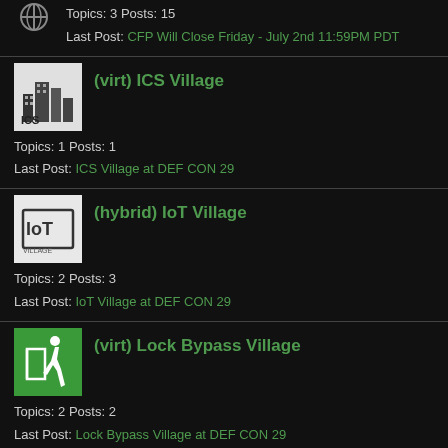Topics: 3 Posts: 15
Last Post: CFP Will Close Friday - July 2nd 11:59PM PDT
(virt) ICS Village
Topics: 1 Posts: 1
Last Post: ICS Village at DEF CON 29
(hybrid) IoT Village
Topics: 2 Posts: 3
Last Post: IoT Village at DEF CON 29
(virt) Lock Bypass Village
Topics: 2 Posts: 2
Last Post: Lock Bypass Village at DEF CON 29
(virt) Lock Pick Village
Topics: 2 Posts: 2
Last Post: LPV Schedule for DEF CON 29
(hybrid) Packet Hacking Village